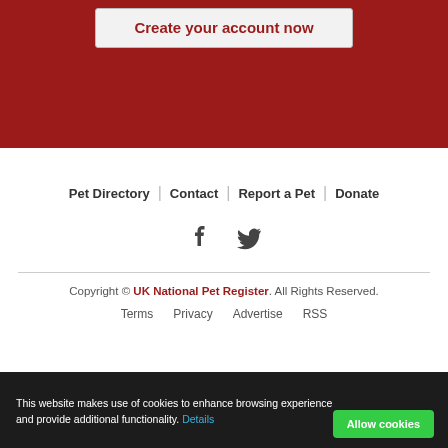Create your account now
Pet Directory  Contact  Report a Pet  Donate
[Figure (other): Facebook and Twitter social media icons]
Copyright © UK National Pet Register. All Rights Reserved.
Terms  Privacy  Advertise  RSS
This website makes use of cookies to enhance browsing experience and provide additional functionality. Details  Allow cookies